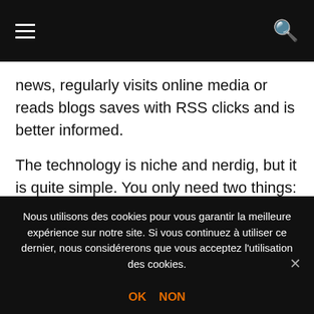≡  [hamburger menu]  [search icon]
news, regularly visits online media or reads blogs saves with RSS clicks and is better informed.
The technology is niche and nerdig, but it is quite simple. You only need two things: a website that supports RSS, and a reader where you collect and read the feeds. In the picture gallery at the end of the article, I briefly explain how to find RSS feeds and give an overview of recommended RSS readers. If you want to track the news from SZ.de, Zeit Online and Spiegel Online, you no longer
Nous utilisons des cookies pour vous garantir la meilleure expérience sur notre site. Si vous continuez à utiliser ce dernier, nous considérerons que vous acceptez l'utilisation des cookies.
OK  NON